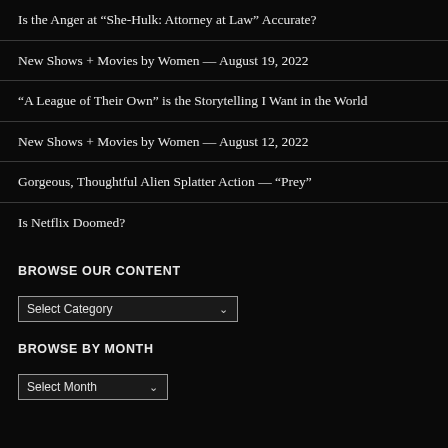Is the Anger at “She-Hulk: Attorney at Law” Accurate?
New Shows + Movies by Women — August 19, 2022
“A League of Their Own” is the Storytelling I Want in the World
New Shows + Movies by Women — August 12, 2022
Gorgeous, Thoughtful Alien Splatter Action — “Prey”
Is Netflix Doomed?
BROWSE OUR CONTENT
Select Category
BROWSE BY MONTH
Select Month